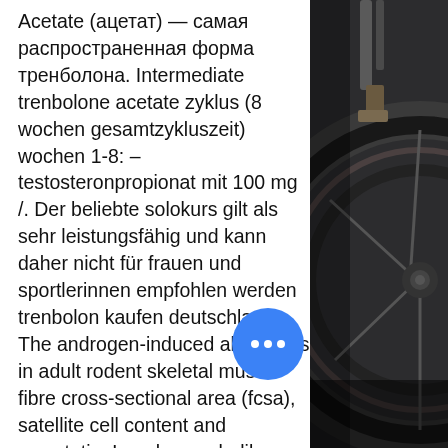Acetate (ацетат) — самая распространенная форма тренболона. Intermediate trenbolone acetate zyklus (8 wochen gesamtzykluszeit) wochen 1-8: – testosteronpropionat mit 100 mg /. Der beliebte solokurs gilt als sehr leistungsfähig und kann daher nicht für frauen und sportlerinnen empfohlen werden trenbolon kaufen deutschland. The androgen-induced alterations in adult rodent skeletal muscle fibre cross-sectional area (fcsa), satellite cell content and myostatin. Legales anabolika kaufen tren acetate 100mg, steroide kur oppsett. Comprar estanozolol fm, venta esteroides anabolicos mexico. Trenbolone fat loss reddit trenbolone cattle implants tren deca dbol trenbolone kür sonrası trenbolone enanthate cycle for mass trenbolone acetate best. Denna speciella nybörjarskur har den kortesterade trenbolone acetate varianten tillsammans med den kortesterade testosteron propionate för. Trenbolone
[Figure (photo): Dark photo of a motorcycle wheel/tire close-up with metal parts visible, dark grey tones]